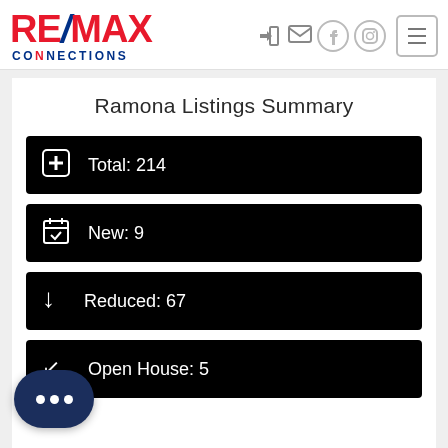[Figure (logo): RE/MAX Connections logo - red RE/MAX text with blue slash, blue CONNECTIONS text below]
Ramona Listings Summary
Total: 214
New: 9
Reduced: 67
Open House: 5